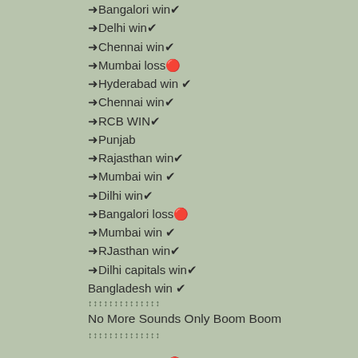➜Bangalori win✔
➜Delhi win✔
➜Chennai win✔
➜Mumbai loss🔴
➜Hyderabad win ✔
➜Chennai win✔
➜RCB WIN✔
➜Punjab
➜Rajasthan win✔
➜Mumbai win ✔
➜Dilhi win✔
➜Bangalori loss🔴
➜Mumbai win ✔
➜RJasthan win✔
➜Dilhi capitals win✔
Bangladesh win ✔
↕↕↕↕↕↕↕↕↕↕↕↕↕↕
No More Sounds Only Boom Boom
↕↕↕↕↕↕↕↕↕↕↕↕↕↕
01871328193 🔴You Coll